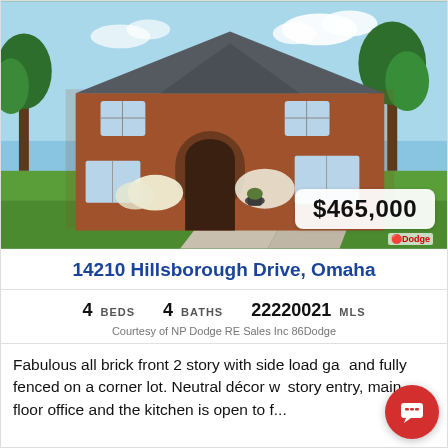[Figure (photo): Exterior photo of a two-story all-brick front home with a curved driveway, green lawn, and large trees, with a price badge showing $465,000 in the lower right corner.]
14210 Hillsborough Drive, Omaha
4 BEDS   4 BATHS   22220021 MLS
Courtesy of NP Dodge RE Sales Inc 86Dodge
Fabulous all brick front 2 story with side load ga... and fully fenced on a corner lot. Neutral décor w... story entry, main floor office and the kitchen is open to f...